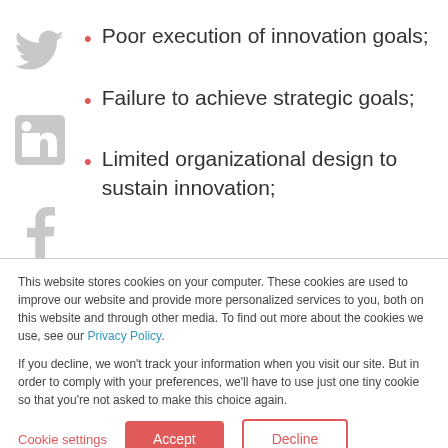[Figure (illustration): Twitter bird social media icon (grey)]
Poor execution of innovation goals;
[Figure (illustration): LinkedIn social media icon (grey)]
Failure to achieve strategic goals;
[Figure (illustration): Facebook social media icon (grey)]
Limited organizational design to sustain innovation;
[Figure (illustration): Share/email social media icon (grey, partially visible)]
This website stores cookies on your computer. These cookies are used to improve our website and provide more personalized services to you, both on this website and through other media. To find out more about the cookies we use, see our Privacy Policy.
If you decline, we won't track your information when you visit our site. But in order to comply with your preferences, we'll have to use just one tiny cookie so that you're not asked to make this choice again.